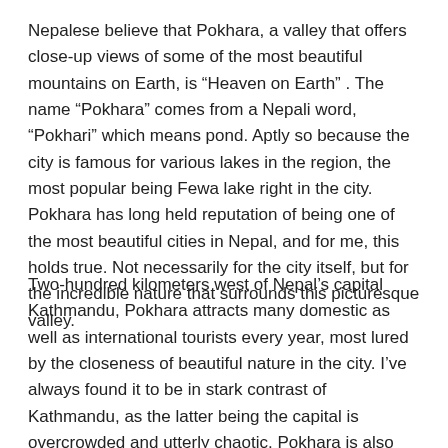Nepalese believe that Pokhara, a valley that offers close-up views of some of the most beautiful mountains on Earth, is “Heaven on Earth” . The name “Pokhara” comes from a Nepali word, “Pokhari” which means pond. Aptly so because the city is famous for various lakes in the region, the most popular being Fewa lake right in the city. Pokhara has long held reputation of being one of the most beautiful cities in Nepal, and for me, this holds true. Not necessarily for the city itself, but for the incredible nature that surrounds this picturesque valley.
Two-hundred kilometers west of Nepal’s capital Kathmandu, Pokhara attracts many domestic as well as international tourists every year, most lured by the closeness of beautiful nature in the city. I’ve always found it to be in stark contrast of Kathmandu, as the latter being the capital is overcrowded and utterly chaotic. Pokhara is also the start point for the world-famous Annapurna circuit trek, that takes you close